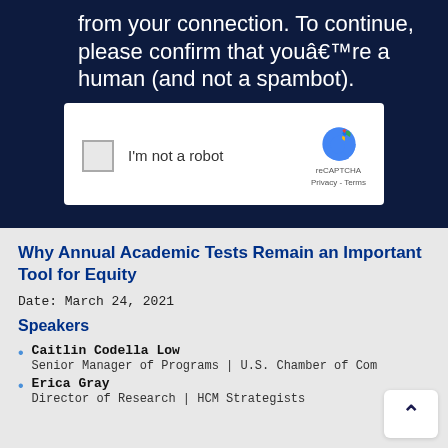[Figure (screenshot): Dark navy background with partial text 'from your connection. To continue, please confirm that you're a human (and not a spambot).' and a reCAPTCHA widget box showing a checkbox labeled 'I'm not a robot' with the reCAPTCHA logo, Privacy and Terms links.]
Why Annual Academic Tests Remain an Important Tool for Equity
Date: March 24, 2021
Speakers
Caitlin Codella Low — Senior Manager of Programs | U.S. Chamber of Com[merce Foundation]
Erica Gray — Director of Research | HCM Strategists